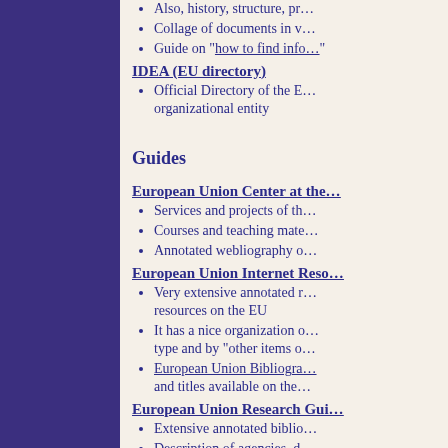Also, history, structure, pr…
Collage of documents in v…
Guide on "how to find info…
IDEA (EU directory)
Official Directory of the E… organizational entity
Guides
European Union Center at the…
Services and projects of th…
Courses and teaching mate…
Annotated webliography o…
European Union Internet Reso…
Very extensive annotated r… resources on the EU
It has a nice organization o… type and by "other items o…
European Union Bibliogra… and titles available on the…
European Union Research Gui…
Extensive annotated biblio…
Description of agencies, d… and data bases